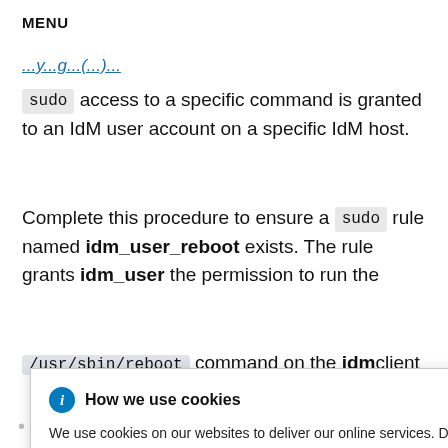MENU
sudo access to a specific command is granted to an IdM user account on a specific IdM host.
Complete this procedure to ensure a sudo rule named idm_user_reboot exists. The rule grants idm_user the permission to run the /usr/sbin/reboot command on the idmclient
[Figure (screenshot): Cookie consent popup overlay reading: 'How we use cookies. We use cookies on our websites to deliver our online services. Details about how we use cookies and how you may disable them are set out in our Privacy Statement. By using this website you agree to our use of cookies.']
You know the IdM administrator password.